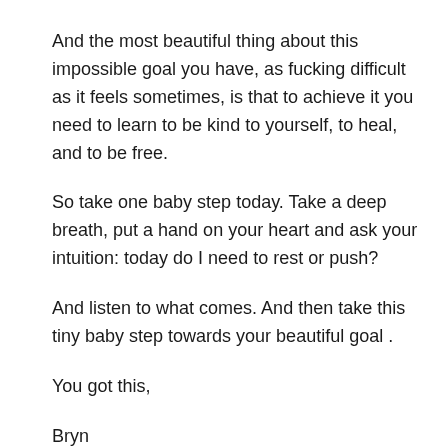And the most beautiful thing about this impossible goal you have, as fucking difficult as it feels sometimes, is that to achieve it you need to learn to be kind to yourself, to heal, and to be free.
So take one baby step today. Take a deep breath, put a hand on your heart and ask your intuition: today do I need to rest or push?
And listen to what comes. And then take this tiny baby step towards your beautiful goal .
You got this,
Bryn